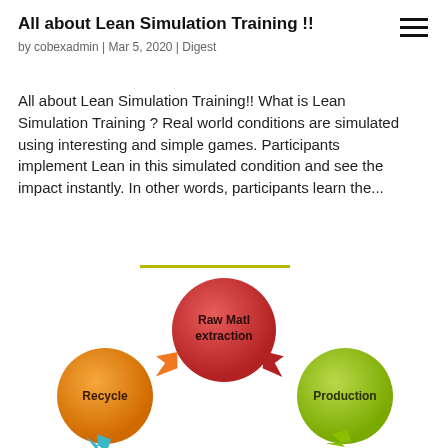All about Lean Simulation Training !!
by cobexadmin | Mar 5, 2020 | Digest
All about Lean Simulation Training!! What is Lean Simulation Training ? Real world conditions are simulated using interesting and simple games. Participants implement Lean in this simulated condition and see the impact instantly. In other words, participants learn the...
[Figure (infographic): Circular process diagram showing three colored circles: Raw Matl extraction (red, top center), Production (green, right), Recycle (orange, left), connected by colored arrows indicating flow between the stages. Additional arrows visible at bottom.]